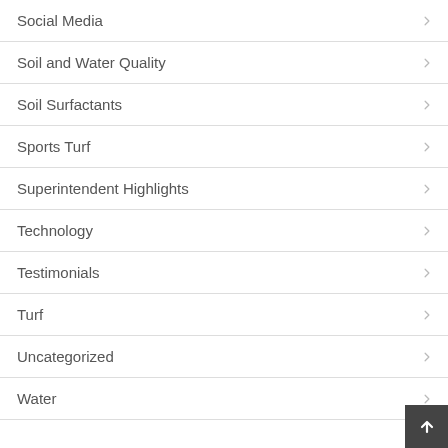Social Media
Soil and Water Quality
Soil Surfactants
Sports Turf
Superintendent Highlights
Technology
Testimonials
Turf
Uncategorized
Water